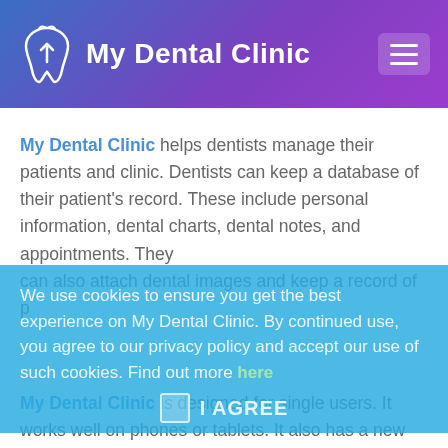My Dental Clinic
My Dental Clinic helps dentists manage their patients and clinic. Dentists can keep a database of their patient's record. These include personal information, dental charts, dental notes, and appointments. They can also attach dental images and keep a record of p
We use cookies to ensure you get the best experience on My Dental Clinic. By continued use, you agree to our privacy policy and accept our use of such cookies. Find out more here
I AGREE
My Dental Clinic is designed for single users. It works well on phones or tablets. It also has a new design for